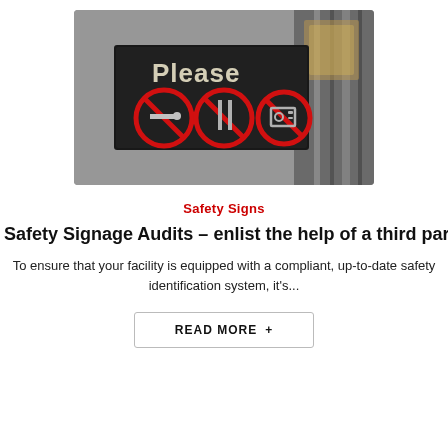[Figure (photo): Close-up photo of a subway/transit 'Please' prohibitory sign with three red prohibition circles covering smoking, eating/drinking, and music/radio icons, mounted on a grey wall of a train car interior]
Safety Signs
Safety Signage Audits - enlist the help of a third part
To ensure that your facility is equipped with a compliant, up-to-date safety identification system, it's...
READ MORE  +